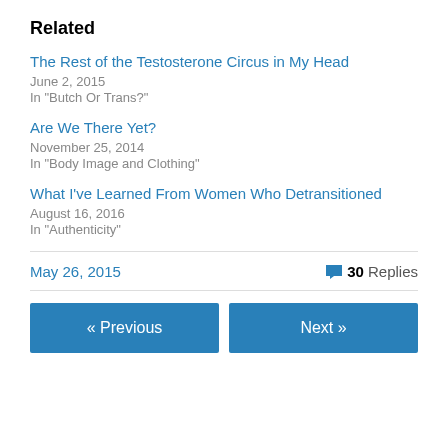Related
The Rest of the Testosterone Circus in My Head
June 2, 2015
In "Butch Or Trans?"
Are We There Yet?
November 25, 2014
In "Body Image and Clothing"
What I've Learned From Women Who Detransitioned
August 16, 2016
In "Authenticity"
May 26, 2015   30 Replies
« Previous   Next »